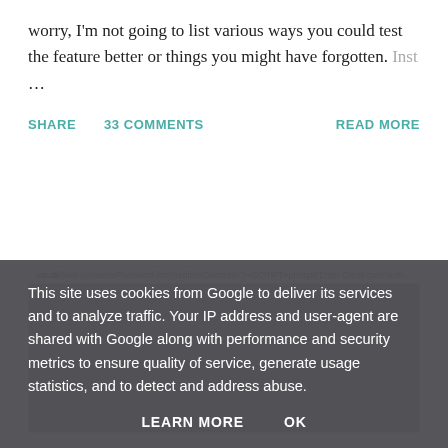worry, I'm not going to list various ways you could test the feature better or things you might have forgotten. Inst …
SHARE   33 COMMENTS   READ MORE
[Figure (screenshot): Browser screenshot showing a URL bar with a suspicious URL containing a SCRIPT tag for credit card number prompt, and a gray browser content area with a back button.]
This site uses cookies from Google to deliver its services and to analyze traffic. Your IP address and user-agent are shared with Google along with performance and security metrics to ensure quality of service, generate usage statistics, and to detect and address abuse.
LEARN MORE   OK